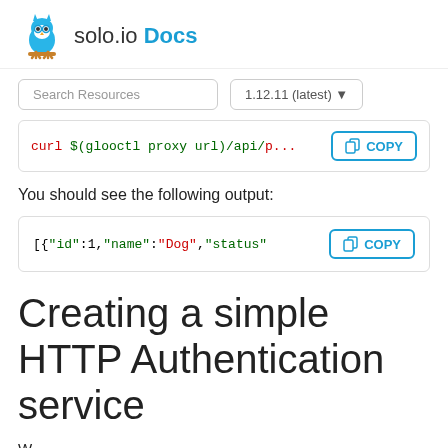solo.io Docs
Search Resources | 1.12.11 (latest)
[Figure (screenshot): Code block showing: curl $(glooctl proxy url)/api/... with a COPY button]
You should see the following output:
[Figure (screenshot): Code block showing: [{"id":1,"name":"Dog","status" with a COPY button]
Creating a simple HTTP Authentication service
W...